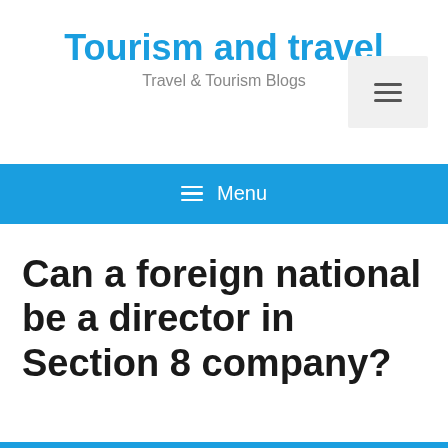Tourism and travel
Travel & Tourism Blogs
≡ Menu
Can a foreign national be a director in Section 8 company?